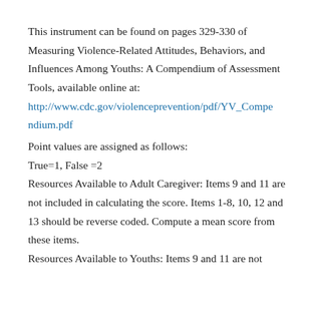This instrument can be found on pages 329-330 of Measuring Violence-Related Attitudes, Behaviors, and Influences Among Youths: A Compendium of Assessment Tools, available online at: http://www.cdc.gov/violenceprevention/pdf/YV_Compendium.pdf
Point values are assigned as follows:
True=1, False =2
Resources Available to Adult Caregiver: Items 9 and 11 are not included in calculating the score. Items 1-8, 10, 12 and 13 should be reverse coded. Compute a mean score from these items.
Resources Available to Youths: Items 9 and 11 are not